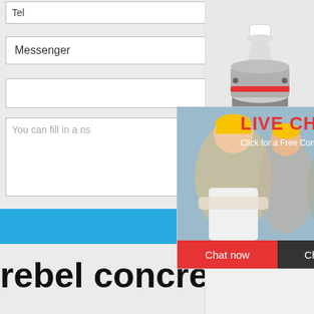Tel
Messenger
You can fill in a              ns
[Figure (photo): Live chat popup showing workers in yellow hard hats, LIVE CHAT header in red, Click for a Free Consultation text, Chat now (red) and Chat later (dark) buttons, 24 hour online text on blue background]
[Figure (photo): Industrial cone crusher machine image on right sidebar]
hour online
Click me to chat>>
Enquiry
limingjlmofen
Order Now
rebel concrete cru